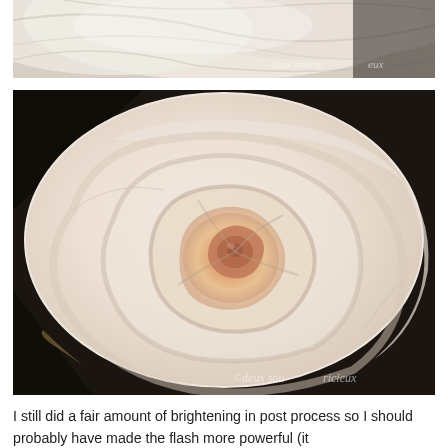[Figure (photo): Close-up macro photograph of white rose petals, cropped at top, with watermark 'deux souricieux' in bottom right corner]
[Figure (photo): Close-up macro photograph of a cream/peach white rose, showing spiral petal arrangement from above, with watermark '©deux souricieux' in bottom right corner]
I still did a fair amount of brightening in post process so I should probably have made the flash more powerful (it